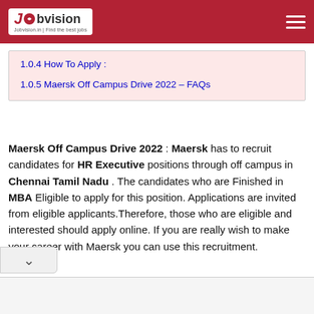Jobvision | Find the best jobs
1.0.4 How To Apply :
1.0.5 Maersk Off Campus Drive 2022 – FAQs
Maersk Off Campus Drive 2022 : Maersk has to recruit candidates for HR Executive positions through off campus in Chennai Tamil Nadu . The candidates who are Finished in MBA Eligible to apply for this position. Applications are invited from eligible applicants.Therefore, those who are eligible and interested should apply online. If you are really wish to make your career with Maersk you can use this recruitment.